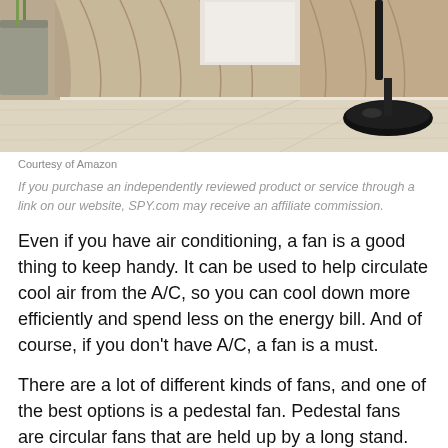[Figure (photo): Photo of a pedestal fan base on a light wood floor in front of beige/tan linen curtains, with a concrete planter visible on the left side. The black metal stand and round black base of the fan are visible on the right side.]
Courtesy of Amazon
If you purchase an independently reviewed product or service through a link on our website, SPY.com may receive an affiliate commission.
Even if you have air conditioning, a fan is a good thing to keep handy. It can be used to help circulate cool air from the A/C, so you can cool down more efficiently and spend less on the energy bill. And of course, if you don't have A/C, a fan is a must.
There are a lot of different kinds of fans, and one of the best options is a pedestal fan. Pedestal fans are circular fans that are held up by a long stand. The benefit is that their height allows them to be better